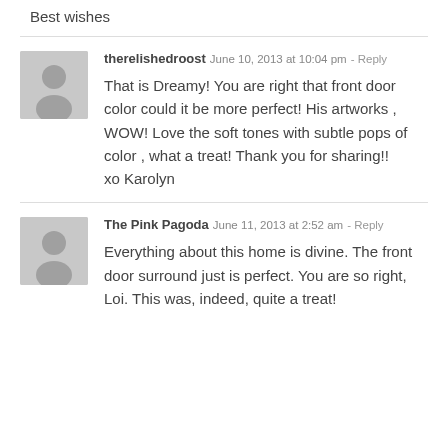Best wishes
therelishedroost  June 10, 2013 at 10:04 pm  - Reply

That is Dreamy! You are right that front door color could it be more perfect! His artworks , WOW! Love the soft tones with subtle pops of color , what a treat! Thank you for sharing!!
xo Karolyn
The Pink Pagoda  June 11, 2013 at 2:52 am  - Reply

Everything about this home is divine. The front door surround just is perfect. You are so right, Loi. This was, indeed, quite a treat!